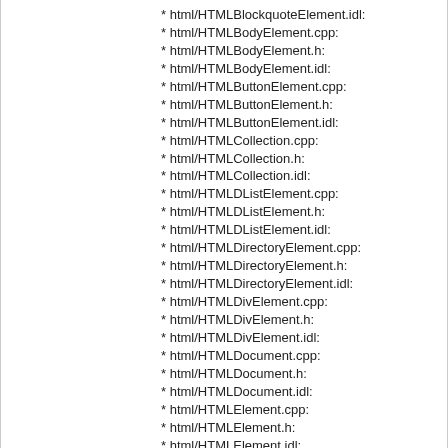* html/HTMLBlockquoteElement.idl:
* html/HTMLBodyElement.cpp:
* html/HTMLBodyElement.h:
* html/HTMLBodyElement.idl:
* html/HTMLButtonElement.cpp:
* html/HTMLButtonElement.h:
* html/HTMLButtonElement.idl:
* html/HTMLCollection.cpp:
* html/HTMLCollection.h:
* html/HTMLCollection.idl:
* html/HTMLDListElement.cpp:
* html/HTMLDListElement.h:
* html/HTMLDListElement.idl:
* html/HTMLDirectoryElement.cpp:
* html/HTMLDirectoryElement.h:
* html/HTMLDirectoryElement.idl:
* html/HTMLDivElement.cpp:
* html/HTMLDivElement.h:
* html/HTMLDivElement.idl:
* html/HTMLDocument.cpp:
* html/HTMLDocument.h:
* html/HTMLDocument.idl:
* html/HTMLElement.cpp:
* html/HTMLElement.h:
* html/HTMLElement.idl:
* html/HTMLElementFactory.cpp:
* html/HTMLElementFactory.h:
* html/HTMLEmbedElement.cpp:
* html/HTMLEmbedElement.h:
* html/HTMLEmbedElement.idl: